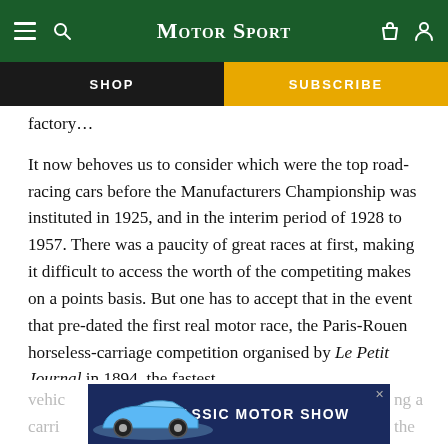Motor Sport — navigation bar with hamburger, search, logo, bag, and user icons
SHOP | SUBSCRIBE
factory...
It now behoves us to consider which were the top road-racing cars before the Manufacturers Championship was instituted in 1925, and in the interim period of 1928 to 1957. There was a paucity of great races at first, making it difficult to access the worth of the competing makes on a points basis. But one has to accept that in the event that pre-dated the first real motor race, the Paris-Rouen horseless-carriage competition organised by Le Petit Journal in 1894, the fastest
vehicle [ad] ng a
carri the